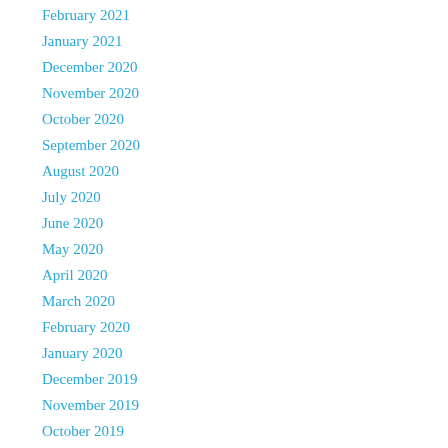February 2021
January 2021
December 2020
November 2020
October 2020
September 2020
August 2020
July 2020
June 2020
May 2020
April 2020
March 2020
February 2020
January 2020
December 2019
November 2019
October 2019
September 2019
August 2019
July 2019
June 2019
May 2019
April 2019